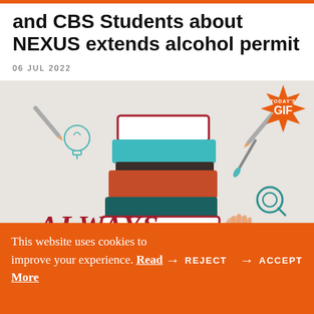and CBS Students about NEXUS extends alcohol permit
06 JUL 2022
[Figure (illustration): Stack of colorful books illustration with light bulb, pencils, paint brush, magnifying glass, and the partial text 'ALWAYS' visible. A starburst badge in orange-red reads TODAY'S GIF.]
This website uses cookies to improve your experience. Read More
→ REJECT → ACCEPT